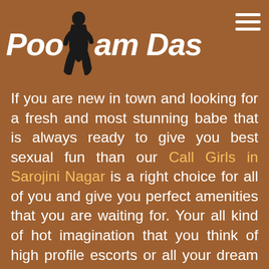Poonam Das
If you are new in town and looking for a fresh and most stunning babe that is always ready to give you best sexual fun than our Call Girls in Sarojini Nagar is a right choice for all of you and give you perfect amenities that you are waiting for. Your all kind of hot imagination that you think of high profile escorts or all your dream wish that you need can easily be fulfilled with complete freedom. Escorts in Sarojini Nagar ready to provide you the best enjoyment and entertainment and they are perfect to attract any of man from their gorgeous outfit as they only wear those dresses that suits them and men like that. If you need perfect love from your love partner who is hot looking sexy babe then visit here first and choose your own divas. The rate is reasonable for all of you and if you want to increase your satisfaction level then visit here and get the best babes